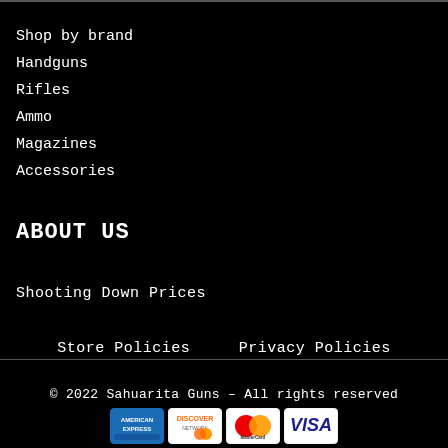Shop by brand
Handguns
Rifles
Ammo
Magazines
Accessories
ABOUT US
Shooting Down Prices
Store Policies    Privacy Policies
© 2022 Sahuarita Guns – All rights reserved
[Figure (logo): Payment card logos: American Express, Discover, MasterCard, Visa]